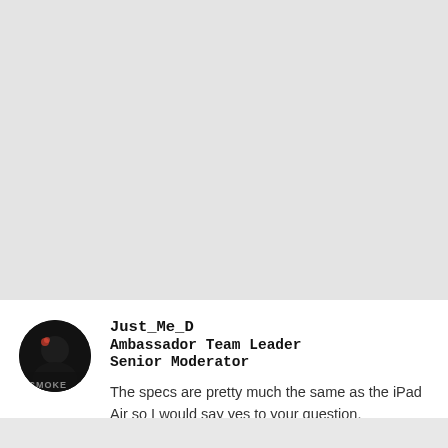[Figure (photo): Gray background area filling the upper portion of the page]
[Figure (photo): Circular avatar showing a dark smoky/dramatic profile image with text 'SMOKE' visible]
Just_Me_D
Ambassador Team Leader
Senior Moderator
The specs are pretty much the same as the iPad Air so I would say yes to your question.